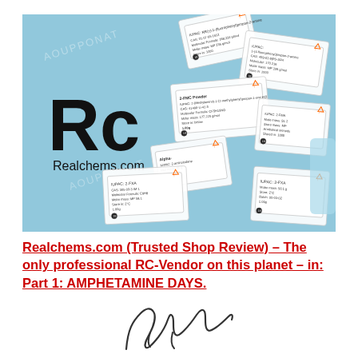[Figure (photo): Photo of multiple white labeled chemical powder packets arranged on a light blue background, with Rc Realchems.com logo visible on the left side.]
Realchems.com (Trusted Shop Review) – The only professional RC-Vendor on this planet – in: Part 1: AMPHETAMINE DAYS.
[Figure (illustration): Handwritten signature in black ink.]